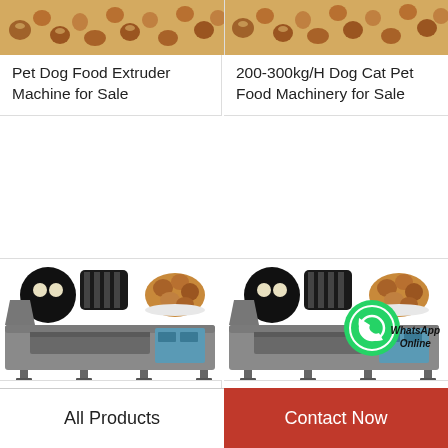[Figure (photo): Pet dog food extruder machine product photo showing kibble pieces]
Pet Dog Food Extruder Machine for Sale
[Figure (photo): 200-300kg/H Dog Cat Pet Food Machinery product photo showing kibble pieces]
200-300kg/H Dog Cat Pet Food Machinery for Sale
[Figure (photo): Industrial food extrusion machine with circular die components and kibble product shots]
Professional Waffle Stick Maker Manufacturer Foo…
[Figure (photo): Industrial food extrusion machine similar to first with WhatsApp Online badge overlay]
Pet Food Making Machine Fish Dog Food Machine f…
All Products
Contact Now